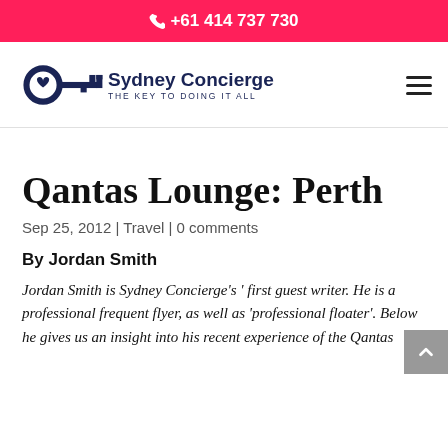📞 +61 414 737 730
[Figure (logo): Sydney Concierge logo — a decorative key icon in navy blue, with text 'Sydney Concierge' and tagline 'THE KEY TO DOING IT ALL']
Qantas Lounge: Perth
Sep 25, 2012 | Travel | 0 comments
By Jordan Smith
Jordan Smith is Sydney Concierge's ' first guest writer. He is a professional frequent flyer, as well as 'professional floater'. Below he gives us an insight into his recent experience of the Qantas